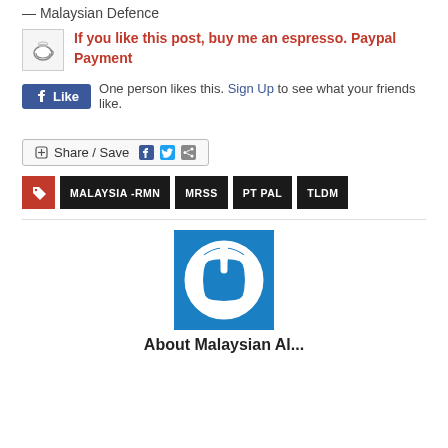— Malaysian Defence
If you like this post, buy me an espresso. Paypal Payment
One person likes this. Sign Up to see what your friends like.
+ Share / Save
MALAYSIA -RMN  MRSS  PT PAL  TLDM
[Figure (logo): Blue square power button logo icon for the website author]
About Malaysian Al...